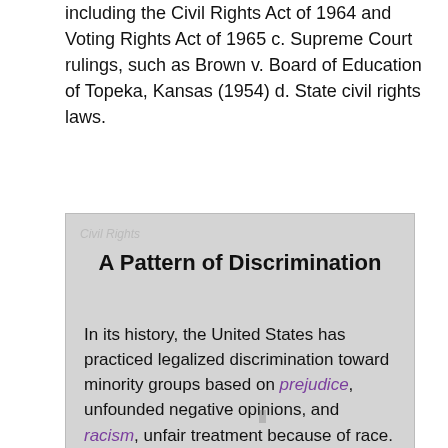including the Civil Rights Act of 1964 and Voting Rights Act of 1965 c. Supreme Court rulings, such as Brown v. Board of Education of Topeka, Kansas (1954) d. State civil rights laws.
[Figure (screenshot): A slide titled 'A Pattern of Discrimination' with watermark 'Civil Rights'. Body text reads: 'In its history, the United States has practiced legalized discrimination toward minority groups based on prejudice, unfounded negative opinions, and racism, unfair treatment because of race.' Footnote: 'prejudice = preconceived opinion that is not based on reason or actual experience']
Civil Rights A Pattern of Discrimination In its history, the United States has practiced legalized discrimination